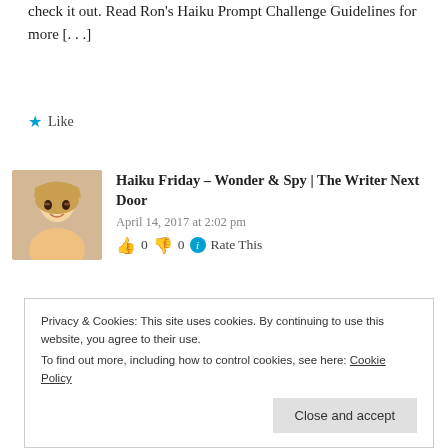check it out. Read Ron's Haiku Prompt Challenge Guidelines for more [...]
Like
Haiku Friday – Wonder & Spy | The Writer Next Door
April 14, 2017 at 2:02 pm
👍 0 👎 0 ℹ Rate This
[Figure (photo): Avatar photo of a young woman with blonde hair]
[...] also does author interviews and much more on his blog. Be sure to
Privacy & Cookies: This site uses cookies. By continuing to use this website, you agree to their use. To find out more, including how to control cookies, see here: Cookie Policy
Close and accept